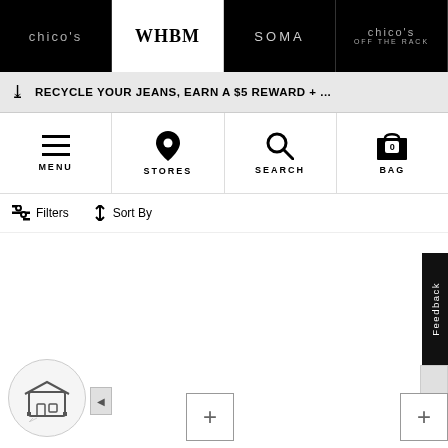chico's | WHBM | SOMA | chico's OFF THE RACK
RECYCLE YOUR JEANS, EARN A $5 REWARD + ...
[Figure (screenshot): Navigation icon bar with MENU (hamburger), STORES (location pin), SEARCH (magnifier), BAG (bag with 0) icons]
Filters   Sort By
[Figure (screenshot): Product listing area, mostly white/blank with a Feedback vertical tab on the right, two plus buttons at the bottom, and a chat widget in the lower left]